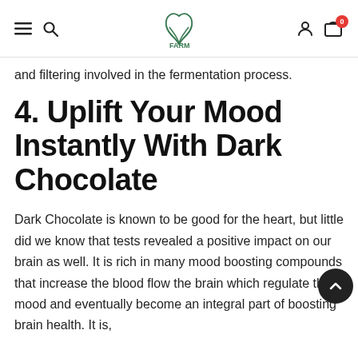Navigation header with hamburger menu, search icon, logo, user icon, and cart (0)
and filtering involved in the fermentation process.
4. Uplift Your Mood Instantly With Dark Chocolate
Dark Chocolate is known to be good for the heart, but little did we know that tests revealed a positive impact on our brain as well. It is rich in many mood boosting compounds that increase the blood flow the brain which regulate the mood and eventually become an integral part of boosting brain health. It is,